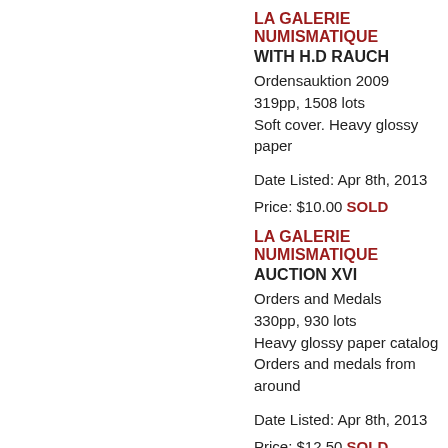LA GALERIE NUMISMATIQUE
WITH H.D RAUCH
Ordensauktion 2009
319pp, 1508 lots
Soft cover. Heavy glossy paper
Date Listed: Apr 8th, 2013
Price: $10.00 SOLD
Show more...
LA GALERIE NUMISMATIQUE
AUCTION XVI
Orders and Medals
330pp, 930 lots
Heavy glossy paper catalog
Orders and medals from around
Date Listed: Apr 8th, 2013
Price: $12.50 SOLD
Show more...